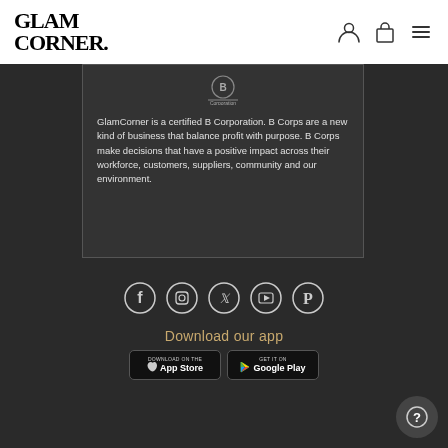GLAM CORNER.
[Figure (logo): B Corporation certified logo — small circular emblem with text 'Corporation' beneath]
GlamCorner is a certified B Corporation. B Corps are a new kind of business that balance profit with purpose. B Corps make decisions that have a positive impact across their workforce, customers, suppliers, community and our environment.
[Figure (infographic): Row of five social media icons: Facebook, Instagram, Twitter, YouTube, Pinterest — white outlined circles on dark background]
Download our app
[Figure (infographic): Two app store download buttons: 'Download on the App Store' (Apple) and 'GET IT ON Google Play']